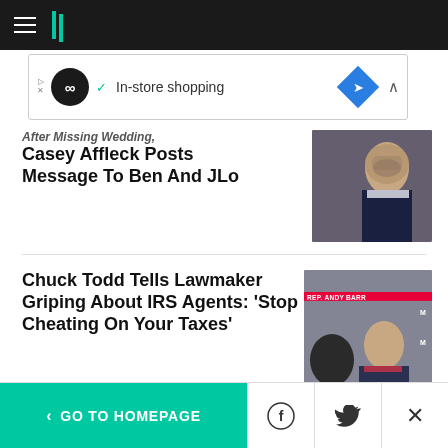HuffPost navigation bar with hamburger menu and logo
[Figure (screenshot): Advertisement banner: infinity icon, checkmark, 'In-store shopping' text, blue diamond arrow icon, chevron]
After Missing Wedding, Casey Affleck Posts Message To Ben And JLo
[Figure (photo): Photo of Casey Affleck at an event, dark suit, beard]
Chuck Todd Tells Lawmaker Griping About IRS Agents: 'Stop Cheating On Your Taxes'
[Figure (screenshot): News broadcast screenshot showing Rep. Andy Barr on TV screen with interview setup]
< GO TO HOMEPAGE | Facebook share | Twitter share | Close